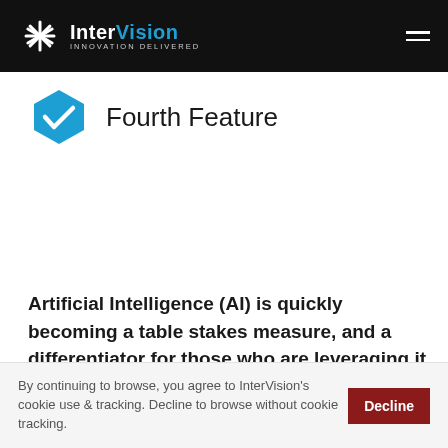InterVision INNOVATION DELIVERED
Fourth Feature
Artificial Intelligence (AI) is quickly becoming a table stakes measure, and a differentiator for those who are leveraging it already. Since AI is ultimately tailor-fit to the business, organizations that use it are able to minimize errors, bias, and
By continuing to browse, you agree to InterVision's cookie use & tracking. Decline to browse without cookie tracking.